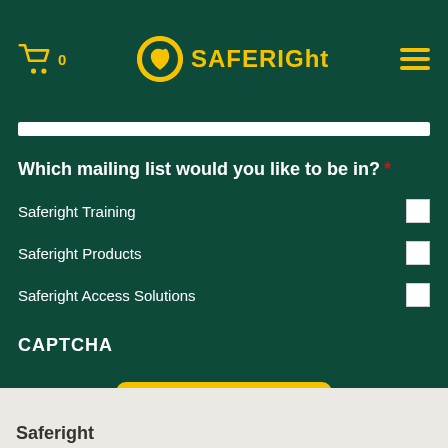[Figure (logo): SafeRight logo with yellow circle icon and yellow text 'SAFERIGHT']
Which mailing list would you like to be in? *
Saferight Training
Saferight Products
Saferight Access Solutions
CAPTCHA
SIGN UP
Saferight